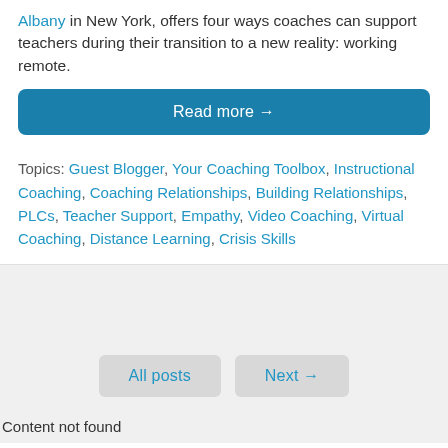Albany in New York, offers four ways coaches can support teachers during their transition to a new reality: working remote.
Read more →
Topics: Guest Blogger, Your Coaching Toolbox, Instructional Coaching, Coaching Relationships, Building Relationships, PLCs, Teacher Support, Empathy, Video Coaching, Virtual Coaching, Distance Learning, Crisis Skills
All posts
Next →
Content not found